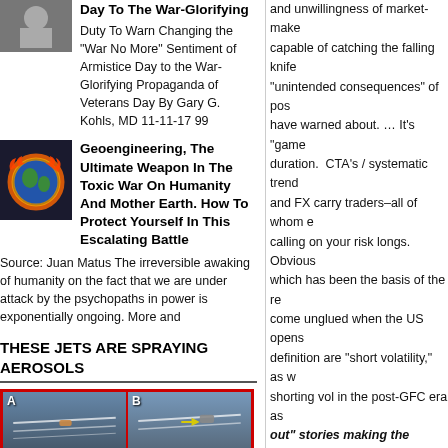[Figure (photo): Small thumbnail image of a person at top of article about Veterans Day / Armistice Day]
Day To The War-Glorifying — Duty To Warn Changing the "War No More" Sentiment of Armistice Day to the War-Glorifying Propaganda of Veterans Day By Gary G. Kohls, MD 11-11-17 99
[Figure (photo): Thumbnail image of a burning Earth globe for geoengineering article]
Geoengineering, The Ultimate Weapon In The Toxic War On Humanity And Mother Earth. How To Protect Yourself In This Escalating Battle
Source: Juan Matus The irreversible awaking of humanity on the fact that we are under attack by the psychopaths in power is exponentially ongoing. More and
THESE JETS ARE SPRAYING AEROSOLS
[Figure (photo): Four-panel grid photo (A, B, C, D) of jets spraying aerosols, with red border and a yellow arrow in panel B]
and unwillingness of market-makers capable of catching the falling knife "unintended consequences" of post have warned about. … It's "game duration.  CTA's / systematic trend and FX carry traders–all of whom e calling on your risk longs.  Obvious which has been the basis of the re come unglued when the US opens definition are "short volatility," as w shorting vol in the post-GFC era as
out" stories making the rounds o
we watch for "market stabilizing fo rebalancers, corporates hedgers e OF UPSIDE "GAP RISK" NOW AS ACTION. …
http://www.zerohedge.com/news/2
huge-losses
Follow